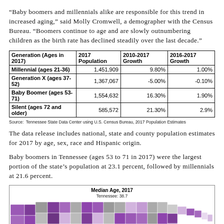“Baby boomers and millennials alike are responsible for this trend in increased aging,” said Molly Cromwell, a demographer with the Census Bureau. “Boomers continue to age and are slowly outnumbering children as the birth rate has declined steadily over the last decade.”
| Generation (Ages in 2017) | 2017 Population | 2010-2017 Growth | 2016-2017 Growth |
| --- | --- | --- | --- |
| Millennial (ages 21-36) | 1,451,909 | 9.80% | 1.00% |
| Generation X (ages 37-52) | 1,367,067 | -5.00% | -0.10% |
| Baby Boomer (ages 53-71) | 1,554,632 | 16.30% | 1.90% |
| Silent (ages 72 and older) | 585,572 | 21.30% | 2.9% |
Source:  Tennessee State Data Center using U.S. Census Bureau, 2017 Population Estimates
The data release includes national, state and county population estimates for 2017 by age, sex, race and Hispanic origin.
Baby boomers in Tennessee (ages 53 to 71 in 2017) were the largest portion of the state’s population at 23.1 percent, followed by millennials at 21.6 percent.
[Figure (map): Choropleth map of Tennessee counties showing Median Age, 2017. Tennessee: 38.7. Counties shaded in varying shades of purple and gray indicating different median age ranges.]